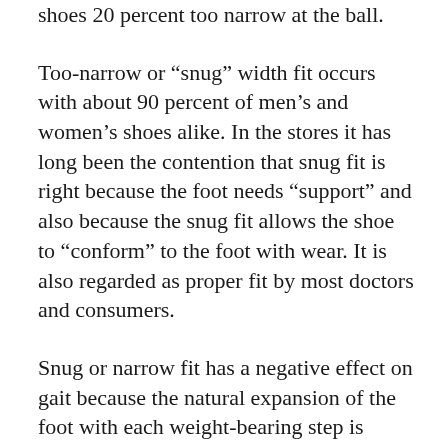shoes 20 percent too narrow at the ball.
Too-narrow or “snug” width fit occurs with about 90 percent of men’s and women’s shoes alike. In the stores it has long been the contention that snug fit is right because the foot needs “support” and also because the snug fit allows the shoe to “conform” to the foot with wear. It is also regarded as proper fit by most doctors and consumers.
Snug or narrow fit has a negative effect on gait because the natural expansion of the foot with each weight-bearing step is prevented. The normal plantar surface at the ball is diminished, affecting foot balance and the security of the gait